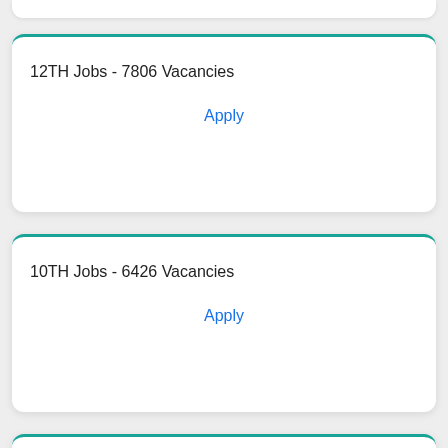12TH Jobs - 7806 Vacancies
Apply
10TH Jobs - 6426 Vacancies
Apply
Bank Jobs - 169 Vacancies
Apply
Our Experts Are Here To Help Do The Job For You.